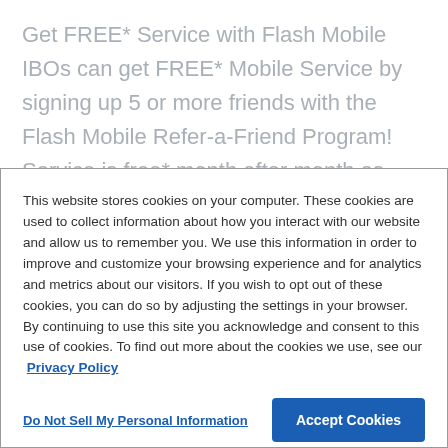Get FREE* Service with Flash Mobile IBOs can get FREE* Mobile Service by signing up 5 or more friends with the Flash Mobile Refer-a-Friend Program! Service is free* month after month as long as the referrals remain Flash
This website stores cookies on your computer. These cookies are used to collect information about how you interact with our website and allow us to remember you. We use this information in order to improve and customize your browsing experience and for analytics and metrics about our visitors. If you wish to opt out of these cookies, you can do so by adjusting the settings in your browser. By continuing to use this site you acknowledge and consent to this use of cookies. To find out more about the cookies we use, see our  Privacy Policy
Do Not Sell My Personal Information
Accept Cookies